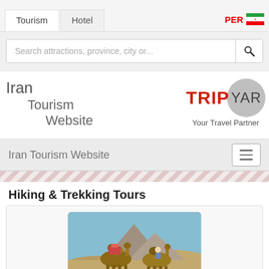Tourism | Hotel | PER [Iran flag]
Search attractions, province, city or...
Iran
Tourism
Website
[Figure (logo): TripYar logo with TRIP in red and YAR in a grey circle, tagline: Your Travel Partner]
Iran Tourism Website
Hiking & Trekking Tours
[Figure (photo): Photo of people riding camels loaded with luggage in a desert landscape with mountains in the background]